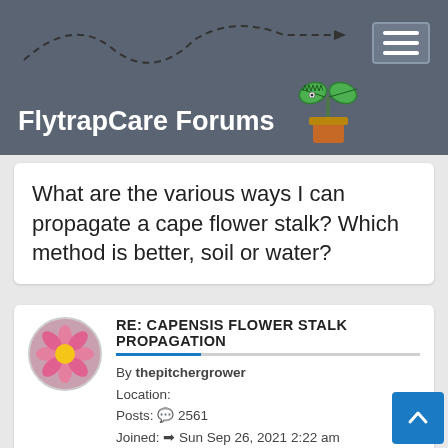FlytrapCare Forums
What are the various ways I can propagate a cape flower stalk? Which method is better, soil or water?
RE: CAPENSIS FLOWER STALK PROPAGATION
By thepitchergrower
Location:
Posts: 2561
Joined: Sun Sep 26, 2021 2:22 am
- Fri Feb 04, 2022 3:47 am    #399354
I'd do them like leaf cuttings. Both would work. For leaves I usually get faster buds in